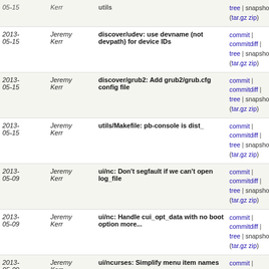| Date | Author | Commit message | Links |
| --- | --- | --- | --- |
| 2013-05-15 | Jeremy Kerr | discover/udev: use devname (not devpath) for device IDs | commit | commitdiff | tree | snapshot (tar.gz zip) |
| 2013-05-15 | Jeremy Kerr | discover/grub2: Add grub2/grub.cfg config file | commit | commitdiff | tree | snapshot (tar.gz zip) |
| 2013-05-15 | Jeremy Kerr | utils/Makefile: pb-console is dist_ | commit | commitdiff | tree | snapshot (tar.gz zip) |
| 2013-05-09 | Jeremy Kerr | ui/nc: Don't segfault if we can't open log_file | commit | commitdiff | tree | snapshot (tar.gz zip) |
| 2013-05-09 | Jeremy Kerr | ui/nc: Handle cui_opt_data with no boot option more... | commit | commitdiff | tree | snapshot (tar.gz zip) |
| 2013-05-09 | Jeremy Kerr | ui/ncurses: Simplify menu item names | commit | commitdiff | tree | snapshot (tar.gz zip) |
| 2013-05-09 | Jeremy Kerr | utils: Add pb-console util | commit | commitdiff | tree | snapshot (tar.gz zip) |
| 2013-05-09 | Jeremy Kerr | pb-udhcpc: Look for more boot options | commit | commitdiff | tree | snapshot (tar.gz zip) |
| 2013-05-09 | Jeremy Kerr | utils/pb-udhcpc: Use command-line format of pb-event | commit | commitdiff | tree | snapshot (tar.gz zip) |
| 2013-05-09 | Jeremy Kerr | pb-event: move send code to a separate function | commit | commitdiff | tree | snapshot (tar.gz zip) |